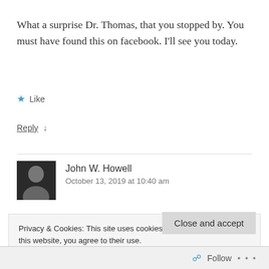What a surprise Dr. Thomas, that you stopped by. You must have found this on facebook. I'll see you today.
★ Like
Reply ↓
John W. Howell
October 13, 2019 at 10:40 am
Privacy & Cookies: This site uses cookies. By continuing to use this website, you agree to their use.
To find out more, including how to control cookies, see here: Cookie Policy
Close and accept
Follow  ...